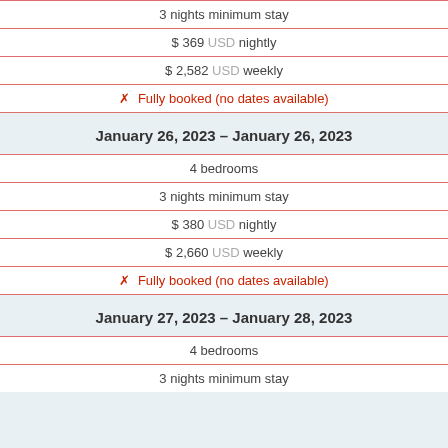3 nights minimum stay
$ 369 USD nightly
$ 2,582 USD weekly
✗ Fully booked (no dates available)
January 26, 2023 – January 26, 2023
4 bedrooms
3 nights minimum stay
$ 380 USD nightly
$ 2,660 USD weekly
✗ Fully booked (no dates available)
January 27, 2023 – January 28, 2023
4 bedrooms
3 nights minimum stay